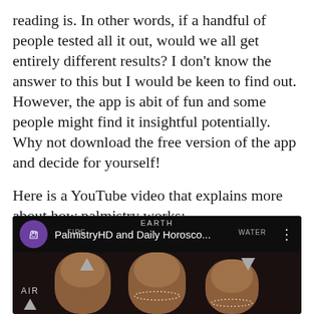reading is. In other words, if a handful of people tested all it out, would we all get entirely different results? I don't know the answer to this but I would be keen to find out. However, the app is abit of fun and some people might find it insightful potentially. Why not download the free version of the app and decide for yourself!

Here is a YouTube video that explains more about how palmistry works:
[Figure (screenshot): Screenshot of a YouTube video player showing 'PalmistryHD and Daily Horosco...' with a purple circular icon featuring a hand with spiral, and a dark background showing fingers with rings and elemental labels (EARTH, FIRE, WATER, AIR) with triangles.]